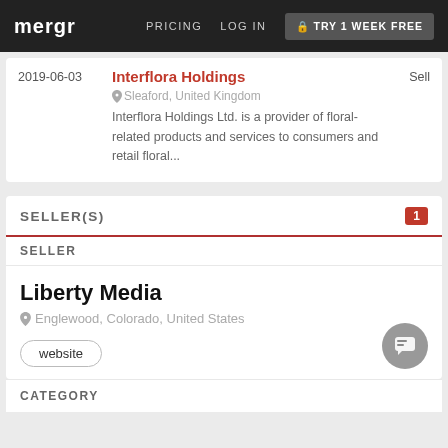mergr  PRICING  LOG IN  TRY 1 WEEK FREE
| Date | Company | Type |
| --- | --- | --- |
| 2019-06-03 | Interflora Holdings
Sleaford, United Kingdom
Interflora Holdings Ltd. is a provider of floral-related products and services to consumers and retail floral... | Sell |
SELLER(S)
SELLER
Liberty Media
Englewood, Colorado, United States
website
CATEGORY